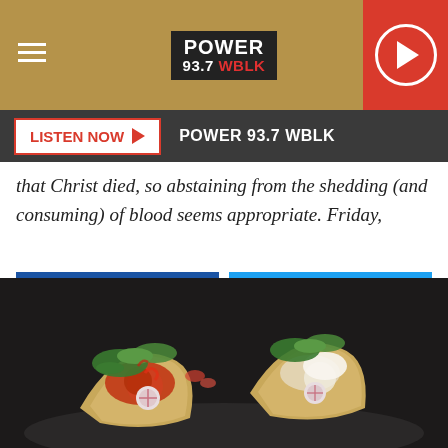[Figure (screenshot): Power 93.7 WBLK radio station website header with tan/gold navigation bar, logo, hamburger menu, and red play button]
LISTEN NOW ▶  POWER 93.7 WBLK
that Christ died, so abstaining from the shedding (and consuming) of blood seems appropriate. Friday,
[Figure (infographic): Facebook Share button (blue) and Twitter Tweet button (light blue)]
“stay of execution” for cows, pigs, and sheep–just as the cross saves us from eternal death. ”
[Figure (photo): Close-up photo of gourmet tacos with cilantro, radish, sauce, and toppings on a dark background]